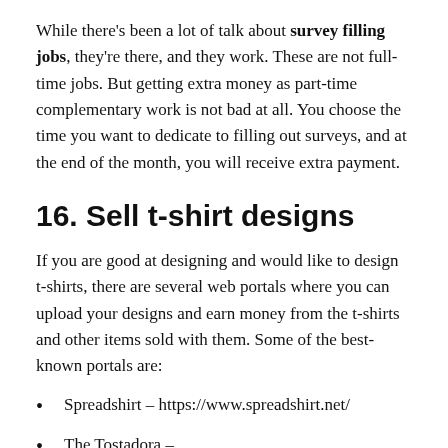While there's been a lot of talk about survey filling jobs, they're there, and they work. These are not full-time jobs. But getting extra money as part-time complementary work is not bad at all. You choose the time you want to dedicate to filling out surveys, and at the end of the month, you will receive extra payment.
16. Sell t-shirt designs
If you are good at designing and would like to design t-shirts, there are several web portals where you can upload your designs and earn money from the t-shirts and other items sold with them. Some of the best-known portals are:
Spreadshirt – https://www.spreadshirt.net/
The Tostadora – https://www.latostadora.com/crear-tienda-